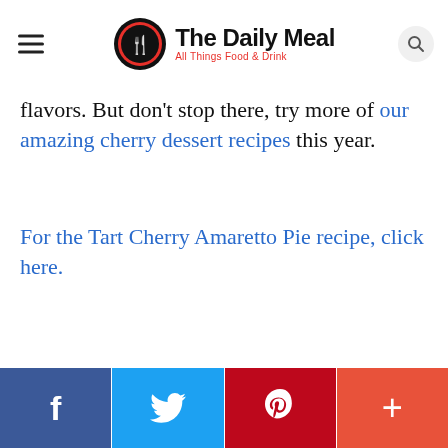The Daily Meal — All Things Food & Drink
flavors. But don't stop there, try more of our amazing cherry dessert recipes this year.
For the Tart Cherry Amaretto Pie recipe, click here.
Social sharing bar: Facebook, Twitter, Pinterest, More